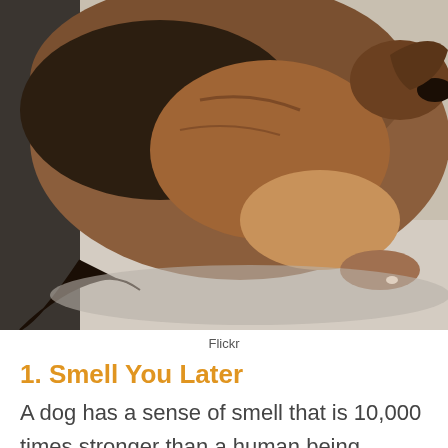[Figure (photo): A dog (appears to be a beagle or basset hound) lying curled up on a light surface, showing its back, tail, and hindquarters. The dog has brown and black fur.]
Flickr
1. Smell You Later
A dog has a sense of smell that is 10,000 times stronger than a human being. Bloodhounds can pick up on scents that are over 300 hours old.